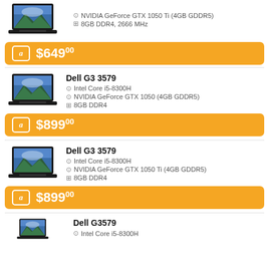[Figure (photo): Laptop image (top, cropped)]
NVIDIA GeForce GTX 1050 Ti (4GB GDDR5)
8GB DDR4, 2666 MHz
$649.00
Dell G3 3579
[Figure (photo): Dell G3 3579 laptop image]
Intel Core i5-8300H
NVIDIA GeForce GTX 1050 (4GB GDDR5)
8GB DDR4
$899.00
Dell G3 3579
[Figure (photo): Dell G3 3579 laptop image]
Intel Core i5-8300H
NVIDIA GeForce GTX 1050 Ti (4GB GDDR5)
8GB DDR4
$899.00
Dell G3579
[Figure (photo): Dell G3579 laptop image (partial)]
Intel Core i5-8300H